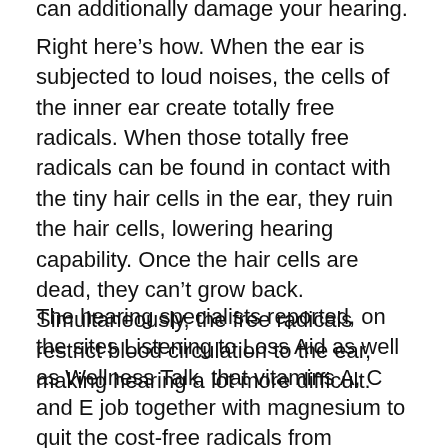can additionally damage your hearing.
Right here’s how. When the ear is subjected to loud noises, the cells of the inner ear create totally free radicals. When those totally free radicals can be found in contact with the tiny hair cells in the ear, they ruin the hair cells, lowering hearing capability. Once the hair cells are dead, they can’t grow back. Simultaneously, the free radicals restrict blood circulation to the ear, making hearing a lot more difficult.
The hearing specialists reported, on the sites Listening to Loss Aid as well as Wellness Talk, that vitamins A, C and E job together with magnesium to quit the cost-free radicals from developing in response to loud noise.